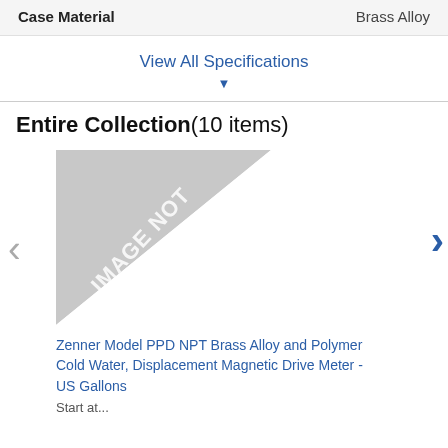| Case Material | Brass Alloy |
| --- | --- |
View All Specifications
Entire Collection(10 items)
[Figure (photo): Product image placeholder with diagonal grey triangle and text IMAGE NOT AVAILABLE]
Zenner Model PPD NPT Brass Alloy and Polymer Cold Water, Displacement Magnetic Drive Meter - US Gallons
Start at...